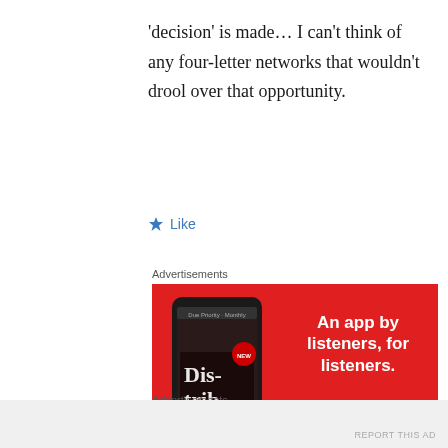'decision' is made… I can't think of any four-letter networks that wouldn't drool over that opportunity.
★ Like
Advertisements
[Figure (illustration): Advertisement banner for a podcast app called 'Distributed'. Red background with a smartphone showing the app on the left and bold white text 'An app by listeners, for listeners.' on the right with a 'Download now' dark red button.]
Advertisements
REPORT THIS AD